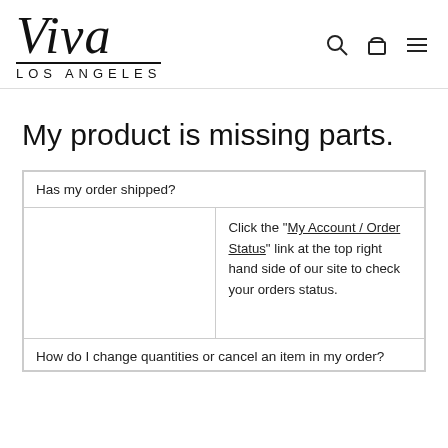Viva LOS ANGELES
My product is missing parts.
| Has my order shipped? |  |
| --- | --- |
|  | Click the "My Account / Order Status" link at the top right hand side of our site to check your orders status. |
| How do I change quantities or cancel an item in my order? |  |